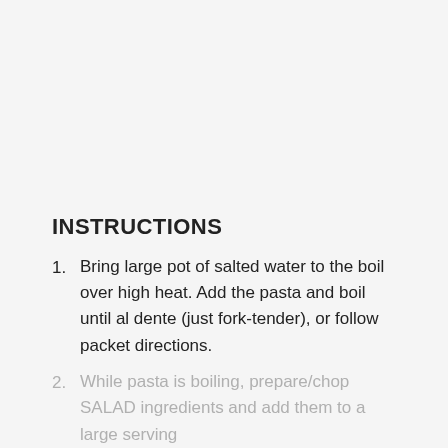INSTRUCTIONS
Bring large pot of salted water to the boil over high heat. Add the pasta and boil until al dente (just fork-tender), or follow packet directions.
While pasta is boiling, prepare/chop SALAD ingredients and add them to a large serving bowl.